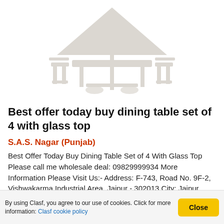[Figure (illustration): Outdoor dining table set illustration: umbrella/parasol above a rectangular table with chairs, rendered in grey silhouette style]
Best offer today buy dining table set of 4 with glass top
S.A.S. Nagar (Punjab)
Best Offer Today Buy Dining Table Set of 4 With Glass Top Please call me wholesale deal: 09829999934 More Information Please Visit Us:- Address: F-743, Road No. 9F-2, Vishwakarma Industrial Area, Jaipur - 302013 City: Jaipur State: Rajasthan Country: India Website:
By using Clasf, you agree to our use of cookies. Click for more information: Clasf cookie policy